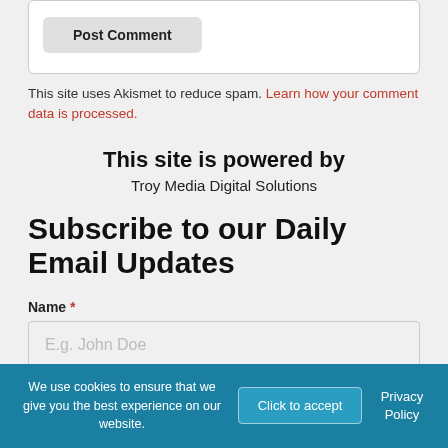Post Comment
This site uses Akismet to reduce spam. Learn how your comment data is processed.
This site is powered by
Troy Media Digital Solutions
Subscribe to our Daily Email Updates
Name *
E.g. John Doe
We use cookies to ensure that we give you the best experience on our website.
Click to accept
Privacy Policy